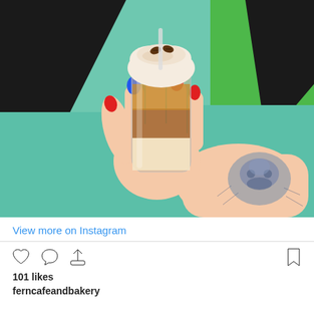[Figure (photo): A hand with blue and red painted nails holding a clear plastic cup of iced coffee drink topped with whipped cream and dusted with spices, against a teal/green and black painted wall background. The hand has a frog/bear tattoo on the forearm.]
View more on Instagram
101 likes
ferncafeandbakery